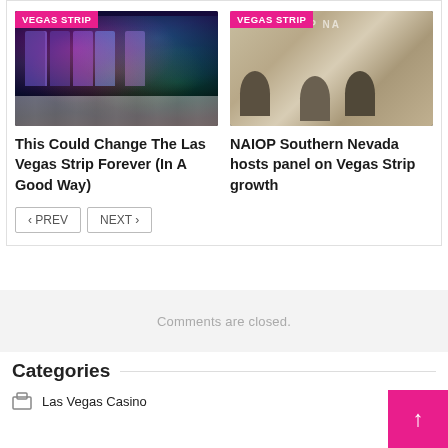[Figure (photo): Nighttime photo of Las Vegas Strip with neon lights and crosswalk, tagged 'VEGAS STRIP']
This Could Change The Las Vegas Strip Forever (In A Good Way)
[Figure (photo): Two men seated in chairs at NAIOP Southern Nevada panel event, with NAIOP branded backdrop, tagged 'VEGAS STRIP']
NAIOP Southern Nevada hosts panel on Vegas Strip growth
< PREV   NEXT >
Comments are closed.
Categories
Las Vegas Casino